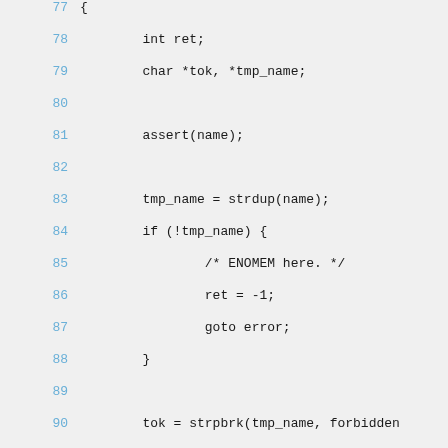77    {
78        int ret;
79        char *tok, *tmp_name;
80
81        assert(name);
82
83        tmp_name = strdup(name);
84        if (!tmp_name) {
85                /* ENOMEM here. */
86                ret = -1;
87                goto error;
88        }
89
90        tok = strpbrk(tmp_name, forbidden
91        if (tok) {
92            DBG("Session name %s cont